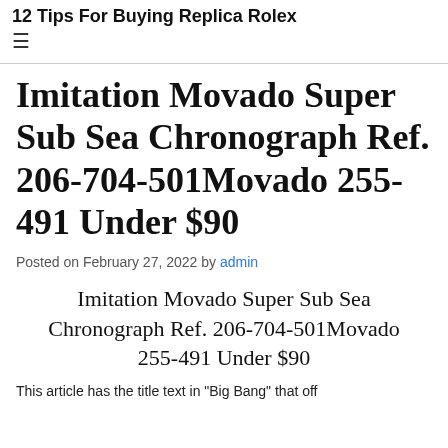12 Tips For Buying Replica Rolex
Imitation Movado Super Sub Sea Chronograph Ref. 206-704-501Movado 255-491 Under $90
Posted on February 27, 2022 by admin
Imitation Movado Super Sub Sea Chronograph Ref. 206-704-501Movado 255-491 Under $90
This article has the title text...